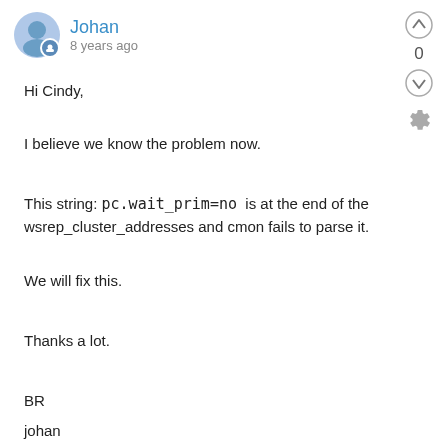Johan
8 years ago
Hi Cindy,
I believe we know the problem now.
This string: pc.wait_prim=no  is at the end of the wsrep_cluster_addresses and cmon fails to parse it.
We will fix this.
Thanks a lot.
BR
johan